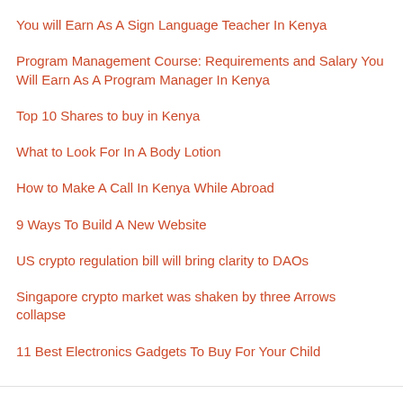You will Earn As A Sign Language Teacher In Kenya
Program Management Course: Requirements and Salary You Will Earn As A Program Manager In Kenya
Top 10 Shares to buy in Kenya
What to Look For In A Body Lotion
How to Make A Call In Kenya While Abroad
9 Ways To Build A New Website
US crypto regulation bill will bring clarity to DAOs
Singapore crypto market was shaken by three Arrows collapse
11 Best Electronics Gadgets To Buy For Your Child